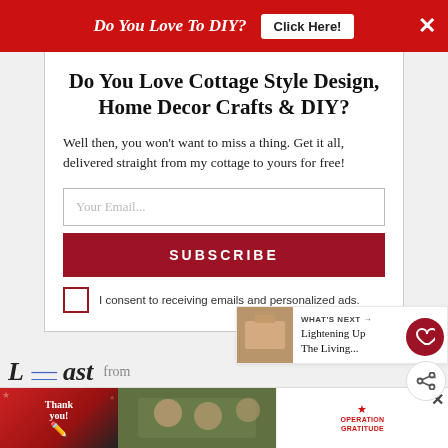Do You Love To DIY?  [Click Here!]  ×
Do You Love Cottage Style Design, Home Decor Crafts & DIY?
Well then, you won't want to miss a thing. Get it all, delivered straight from my cottage to yours for free!
Your Email...
SUBSCRIBE
I consent to receiving emails and personalized ads.
WHAT'S NEXT → Lightening Up The Living...
L  ...  just you...  from
[Figure (screenshot): Bottom advertisement banner showing Thank You military-themed Operation Gratitude ad with close button]